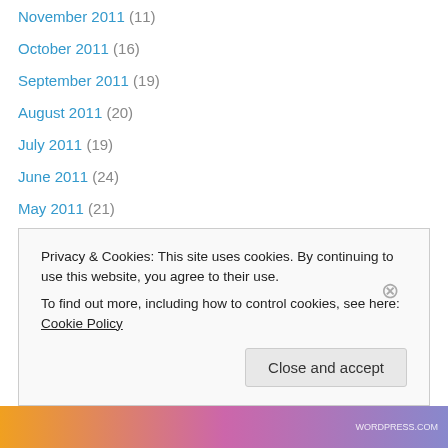November 2011 (11)
October 2011 (16)
September 2011 (19)
August 2011 (20)
July 2011 (19)
June 2011 (24)
May 2011 (21)
April 2011 (11)
March 2011 (14)
February 2011 (22)
January 2011 (19)
December 2010 (18)
November 2010 (18)
October 2010 (25)
Privacy & Cookies: This site uses cookies. By continuing to use this website, you agree to their use. To find out more, including how to control cookies, see here: Cookie Policy
Close and accept